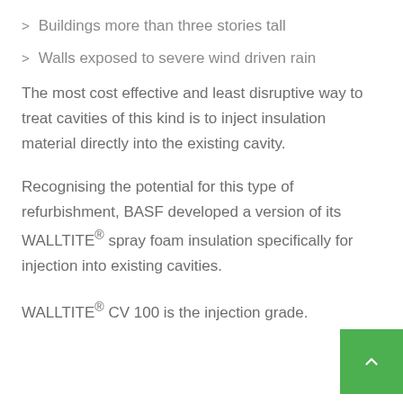Buildings more than three stories tall
Walls exposed to severe wind driven rain
The most cost effective and least disruptive way to treat cavities of this kind is to inject insulation material directly into the existing cavity.
Recognising the potential for this type of refurbishment, BASF developed a version of its WALLTITE® spray foam insulation specifically for injection into existing cavities.
WALLTITE® CV 100 is the injection grade.